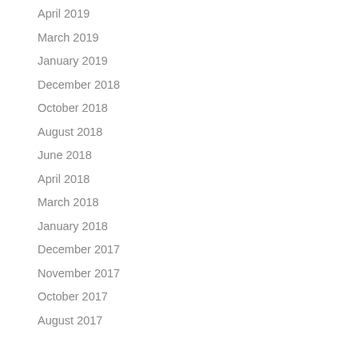April 2019
March 2019
January 2019
December 2018
October 2018
August 2018
June 2018
April 2018
March 2018
January 2018
December 2017
November 2017
October 2017
August 2017